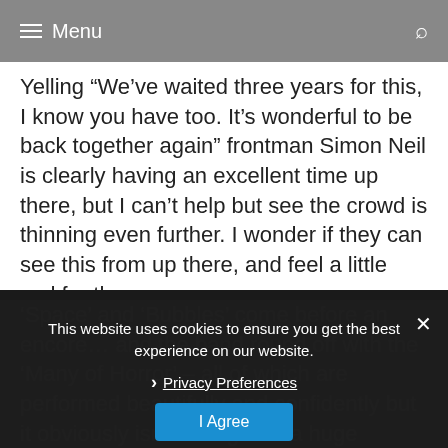Menu
Yelling “We’ve waited three years for this, I know you have too. It’s wonderful to be back together again” frontman Simon Neil is clearly having an excellent time up there, but I can’t help but see the crowd is thinning even further. I wonder if they can see this from up there, and feel a little sad for them.
‘Space’ and ‘Bubbles’ come before an encore… and the band round off with the ‘Many of Horror’ – all of which are performed beautifully and confidently but it obviously isn’t hitting with a huge proportion of the Download crowd who are opting to be elsewhere. The band finish up with a set of
This website uses cookies to ensure you get the best experience on our website.
Privacy Preferences
I Agree